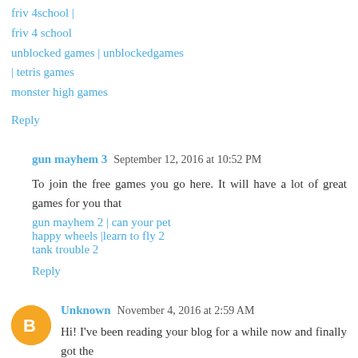friv 4 school
unblocked games | unblockedgames | tetris games
monster high games
Reply
gun mayhem 3  September 12, 2016 at 10:52 PM
To join the free games you go here. It will have a lot of great games for you that
gun mayhem 2 | can your pet
happy wheels |learn to fly 2
tank trouble 2
Reply
Unknown  November 4, 2016 at 2:59 AM
Hi! I've been reading your blog for a while now and finally got the